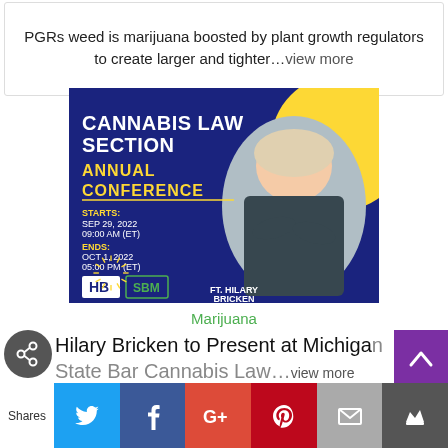PGRs weed is marijuana boosted by plant growth regulators to create larger and tighter…view more
[Figure (illustration): Cannabis Law Section Annual Conference promotional banner. Blue background with yellow circle. Text: CANNABIS LAW SECTION ANNUAL CONFERENCE. STARTS: SEP 29, 2022 09:00 AM (ET). ENDS: OCT 1, 2022 05:00 PM (ET). Logos: HB and SBM. FT. HILARY BRICKEN. Photo of a blonde woman in a dark blazer with arms crossed.]
Marijuana
Hilary Bricken to Present at Michigan State Bar Cannabis Law…view more